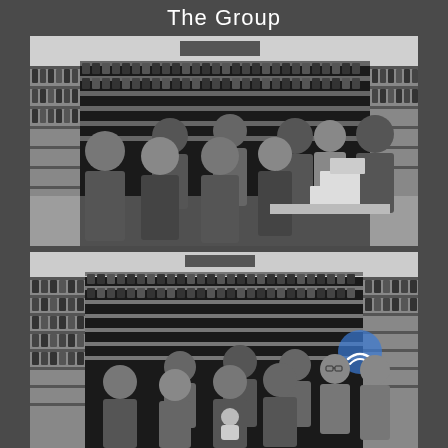The Group
[Figure (photo): Black and white group photo of approximately 9 researchers standing in front of large shelving racks filled with specimen jars or samples in a laboratory storage room. Multiple people including both men and women, some smiling at camera.]
[Figure (photo): Black and white group photo of approximately 8 researchers standing in front of large shelving racks filled with specimen jars or samples in a laboratory storage room. One person in the center is holding a baby. A blue circular logo/watermark is visible in the upper right area of the photo.]